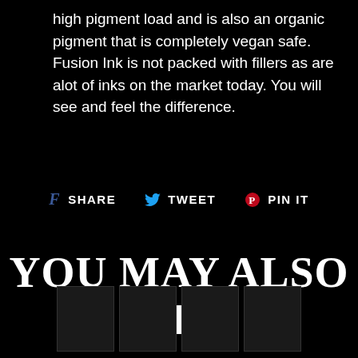high pigment load and is also an organic pigment that is completely vegan safe. Fusion Ink is not packed with fillers as are alot of inks on the market today. You will see and feel the difference.
f SHARE  🐦 TWEET  🔴 PIN IT
YOU MAY ALSO LIKE
[Figure (photo): Four dark/black thumbnail product images in a row at the bottom of the page, partially visible]